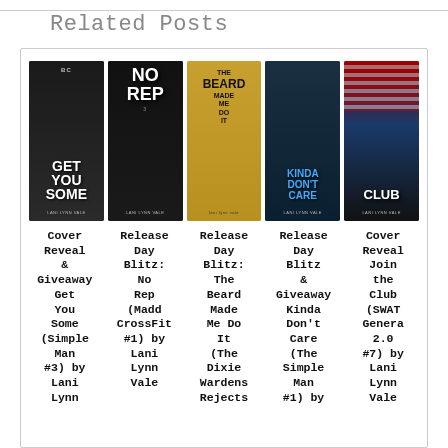Related Posts
[Figure (illustration): Five book covers by Lani Lynn Vale: Get You Some, No Rep, The Beard Made Me Do It, Kinda Don't Care, and a Club book]
Cover Reveal & Giveaway Get You Some (Simple Man #3) by Lani Lynn
Release Day Blitz: No Rep (Madd CrossFit #1) by Lani Lynn Vale
Release Day Blitz: The Beard Made Me Do It (The Dixie Wardens Rejects #1?) by Lani lynn vale
Release Day Blitz & Giveaway Kinda Don't Care (The Simple Man #1) by
Cover Reveal Join the Club (SWAT Generation 2.0 #7) by Lani Lynn Vale